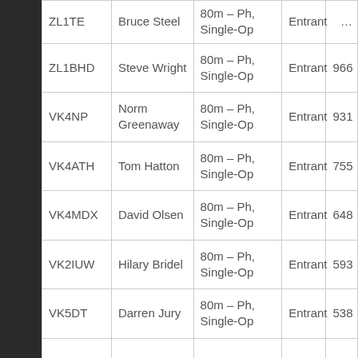| Callsign | Name | Category | Role | Score |
| --- | --- | --- | --- | --- |
| ZL1TE | Bruce Steel | 80m – Ph, Single-Op | Entrant | … |
| ZL1BHD | Steve Wright | 80m – Ph, Single-Op | Entrant | 966 |
| VK4NP | Norm Greenaway | 80m – Ph, Single-Op | Entrant | 931 |
| VK4ATH | Tom Hatton | 80m – Ph, Single-Op | Entrant | 755 |
| VK4MDX | David Olsen | 80m – Ph, Single-Op | Entrant | 648 |
| VK2IUW | Hilary Bridel | 80m – Ph, Single-Op | Entrant | 593 |
| VK5DT | Darren Jury | 80m – Ph, Single-Op | Entrant | 538 |